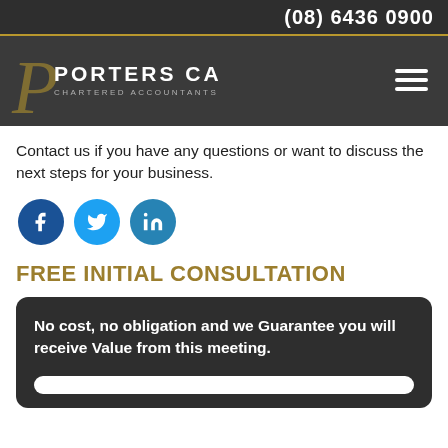(08) 6436 0900
[Figure (logo): Porters CA Chartered Accountants logo with decorative P lettermark in gold on dark background, plus hamburger menu icon]
Contact us if you have any questions or want to discuss the next steps for your business.
[Figure (infographic): Three social media icon circles: Facebook (dark blue), Twitter (light blue), LinkedIn (medium blue)]
FREE INITIAL CONSULTATION
No cost, no obligation and we Guarantee you will receive Value from this meeting.